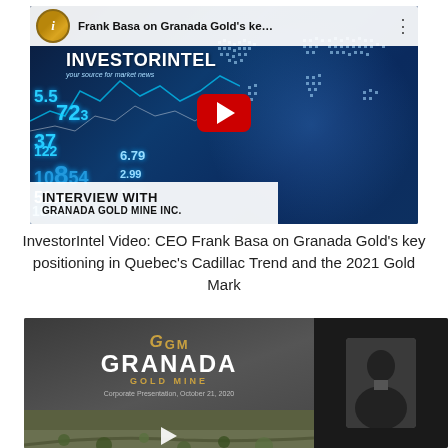[Figure (screenshot): YouTube video thumbnail for InvestorIntel interview with Granada Gold Mine Inc., showing stock market background with ticker numbers and a world map, interview overlay text at bottom left, and red YouTube play button in center]
InvestorIntel Video: CEO Frank Basa on Granada Gold's key positioning in Quebec's Cadillac Trend and the 2021 Gold Mark
[Figure (screenshot): Second video thumbnail showing Granada Gold Mine corporate presentation slide on left (with GGM logo, GRANADA GOLD MINE text in gold/white, and aerial mine photo below), and a dark panel on the right with a person visible, with a play button overlay]